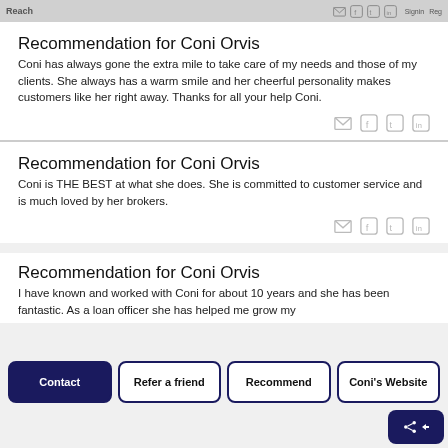Reach — header navigation
Recommendation for Coni Orvis
Coni has always gone the extra mile to take care of my needs and those of my clients. She always has a warm smile and her cheerful personality makes customers like her right away. Thanks for all your help Coni.
Recommendation for Coni Orvis
Coni is THE BEST at what she does. She is committed to customer service and is much loved by her brokers.
Recommendation for Coni Orvis
I have known and worked with Coni for about 10 years and she has been fantastic. As a loan officer she has helped me grow my...